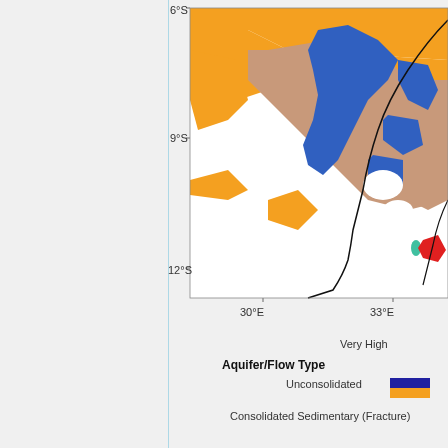[Figure (map): Partial map showing aquifer/flow type regions in southern Africa (approximately 6°S to 12°S latitude, 30°E to 33°E longitude). Colored regions indicate different aquifer/flow types: orange (Consolidated Sedimentary Fracture), blue (Unconsolidated), tan/brown areas, white patches, red small region, and teal accent. Black boundary lines outline country/region borders.]
Very High
Aquifer/Flow Type
Unconsolidated
Consolidated Sedimentary (Fracture)